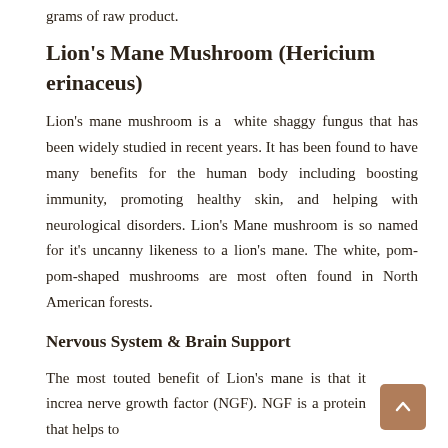grams of raw product.
Lion's Mane Mushroom (Hericium erinaceus)
Lion's mane mushroom is a  white shaggy fungus that has been widely studied in recent years. It has been found to have many benefits for the human body including boosting immunity, promoting healthy skin, and helping with neurological disorders. Lion's Mane mushroom is so named for it's uncanny likeness to a lion's mane. The white, pom-pom-shaped mushrooms are most often found in North American forests.
Nervous System & Brain Support
The most touted benefit of Lion's mane is that it increa nerve growth factor (NGF). NGF is a protein that helps to